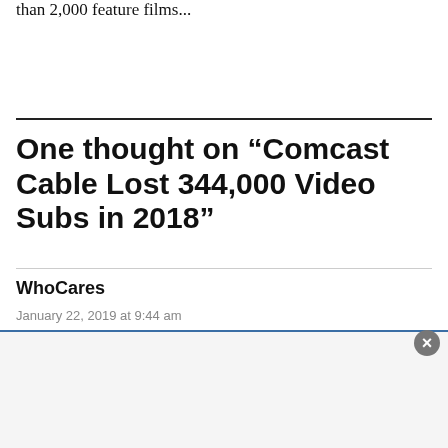than 2,000 feature films...
One thought on “Comcast Cable Lost 344,000 Video Subs in 2018”
WhoCares
January 22, 2019 at 9:44 am